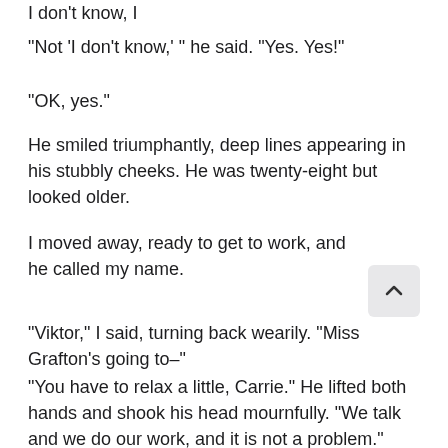I don't know, I
"Not 'I don't know,' " he said. "Yes. Yes!"
"OK, yes."
He smiled triumphantly, deep lines appearing in his stubbly cheeks. He was twenty-eight but looked older.
I moved away, ready to get to work, and he called my name.
"Viktor," I said, turning back wearily. "Miss Grafton's going to–"
"You have to relax a little, Carrie." He lifted both hands and shook his head mournfully. "We talk and we do our work, and it is not a problem."